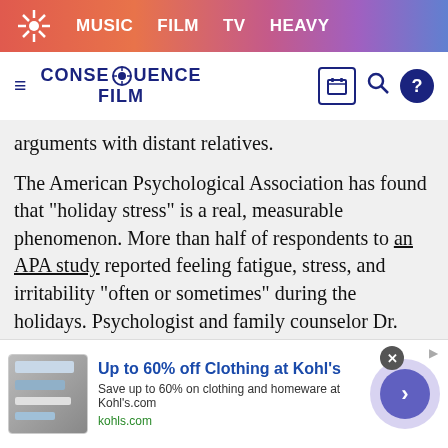MUSIC  FILM  TV  HEAVY
[Figure (logo): Consequence Film website logo with hamburger menu, snowflake/flower logo, site name CONSEQUENCE FILM, and icons for theater, search, and help]
arguments with distant relatives.
The American Psychological Association has found that “holiday stress” is a real, measurable phenomenon. More than half of respondents to an APA study reported feeling fatigue, stress, and irritability “often or sometimes” during the holidays. Psychologist and family counselor Dr. Marie Hartwell-Walker of PsychCentral notes that “family holidays bring out the family dynamics – the good, the bad, and the ugly.”
[Figure (screenshot): Advertisement banner: Up to 60% off Clothing at Kohl’s. Save up to 60% on clothing and homeware at Kohl’s.com. kohls.com]